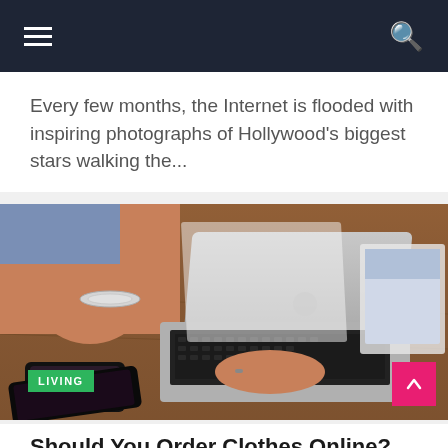Navigation bar with hamburger menu and search icon
Every few months, the Internet is flooded with inspiring photographs of Hollywood's biggest stars walking the...
[Figure (photo): A woman's hand typing on a silver Acer laptop on a wooden desk, with a smartphone and tablet visible, and magazines in the background. A green 'LIVING' badge is overlaid at the bottom left.]
Should You Order Clothes Online?